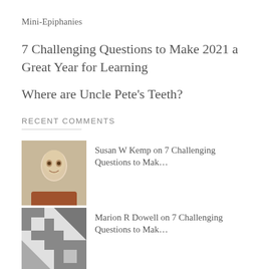Mini-Epiphanies
7 Challenging Questions to Make 2021 a Great Year for Learning
Where are Uncle Pete's Teeth?
RECENT COMMENTS
Susan W Kemp on 7 Challenging Questions to Mak…
Marion R Dowell on 7 Challenging Questions to Mak…
Susan W Kemp on 7 Challenging Questions to Mak…
Alex Whittig… on 7 Challenging Questions to…